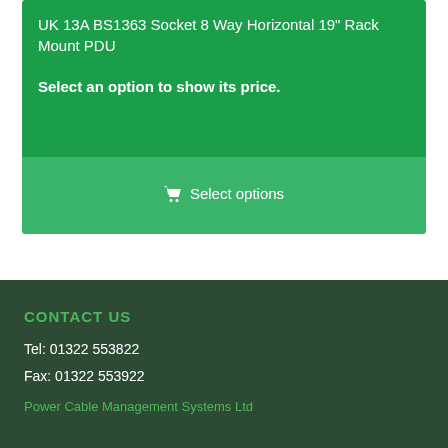UK 13A BS1363 Socket 8 Way Horizontal 19" Rack Mount PDU
Select an option to show its price.
Select options
CONTACT US
Tel: 01322 553822
Fax: 01322 553922